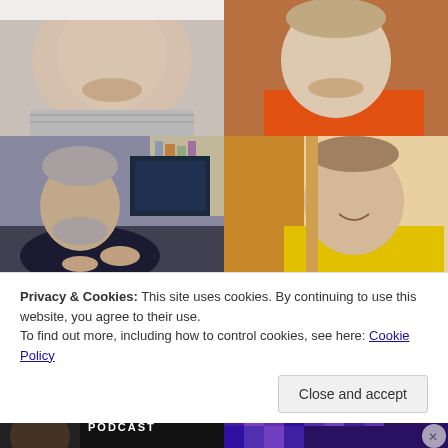[Figure (photo): Grid of four photos: top-left shows a heavyset man with stubble in a grey striped shirt; top-right shows a young man with beard in an orange t-shirt; bottom-left shows an older man with grey beard sitting in front of a computer monitor with stacked books; bottom-right shows a smiling man in a yellow t-shirt peeking from behind a door]
Privacy & Cookies: This site uses cookies. By continuing to use this website, you agree to their use.
To find out more, including how to control cookies, see here: Cookie Policy
Close and accept
[Figure (photo): Bottom strip: left side shows a dark scene with PODCAST label and partial face; right side shows a purple/blue pixel pattern]